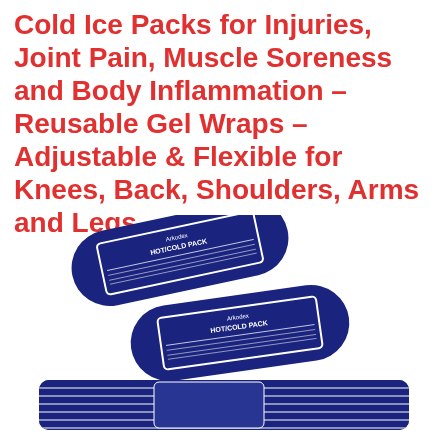Cold Ice Packs for Injuries, Joint Pain, Muscle Soreness and Body Inflammation – Reusable Gel Wraps – Adjustable & Flexible for Knees, Back, Shoulders, Arms and Legs
[Figure (photo): Three navy blue reusable hot/cold gel packs by Arkodex. Two oval-shaped packs are stacked, each with a white border label reading HOT/COLD PACK with instructions. A third item below appears to be a wrap/brace with alternating blue and white stripes and a gel pack insert, showing the adjustable wrap feature.]